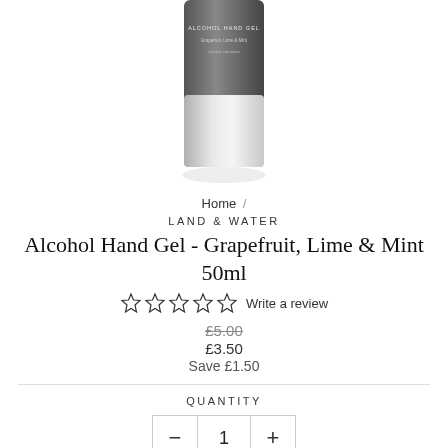[Figure (photo): Product photo of a small grey bottle of Alcohol Hand Gel - Grapefruit, Lime & Mint 50ml by Land & Water, partially cropped at the top of the page]
Home /
LAND & WATER
Alcohol Hand Gel - Grapefruit, Lime & Mint 50ml
☆☆☆☆☆ Write a review
£5.00
£3.50
Save £1.50
QUANTITY
1